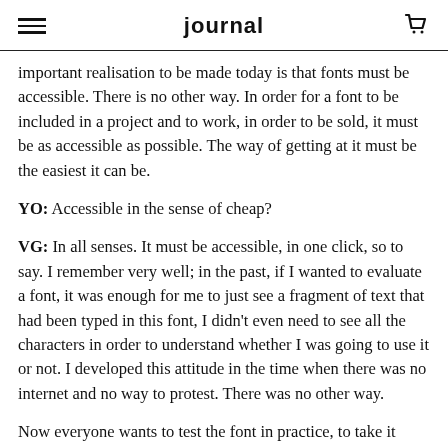journal
important realisation to be made today is that fonts must be accessible. There is no other way. In order for a font to be included in a project and to work, in order to be sold, it must be as accessible as possible. The way of getting at it must be the easiest it can be.
YO: Accessible in the sense of cheap?
VG: In all senses. It must be accessible, in one click, so to say. I remember very well; in the past, if I wanted to evaluate a font, it was enough for me to just see a fragment of text that had been typed in this font, I didn’t even need to see all the characters in order to understand whether I was going to use it or not. I developed this attitude in the time when there was no internet and no way to protest. There was no other way.
Now everyone wants to test the font in practice, to take it